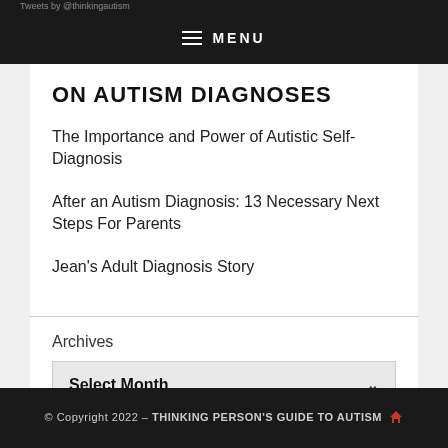MENU
ON AUTISM DIAGNOSES
The Importance and Power of Autistic Self-Diagnosis
After an Autism Diagnosis: 13 Necessary Next Steps For Parents
Jean's Adult Diagnosis Story
Archives
Select Month
© Copyright 2022 – THINKING PERSON'S GUIDE TO AUTISM